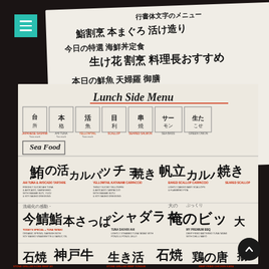[Figure (photo): A photograph of Japanese restaurant menus spread on a dark table. The menus show Japanese calligraphy characters alongside English text headings including 'Lunch Side Menu', 'Sea Food', and various dish names like 'AHI TUNA TATAMI', 'YELLOWTAIL KATANAMI CARPACCIO', 'BAKED SCALLOP CARPACCIO', 'TUNA SAFARI AHI', 'MY PREMIUM BBQ', 'STONE GRILLED KOBE BEEF', 'STONE GRILLED BEEF TONGUE', 'DEEP FRIED CHICKEN KARA'. The menus feature large brushstroke Japanese calligraphy and smaller English descriptions underneath each item. A teal/green hamburger menu icon is visible in the top-left corner, and a circular scroll-to-top button is in the bottom-right corner.]